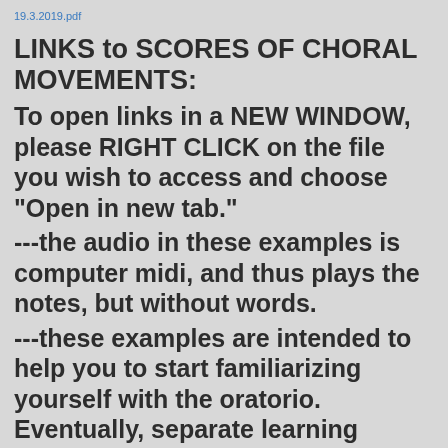19.3.2019.pdf
LINKS to SCORES OF CHORAL MOVEMENTS:
To open links in a NEW WINDOW, please RIGHT CLICK on the file you wish to access and choose "Open in new tab."
---the audio in these examples is computer midi, and thus plays the notes, but without words.
---these examples are intended to help you to start familiarizing yourself with the oratorio. Eventually, separate learning tracks for each voice will be